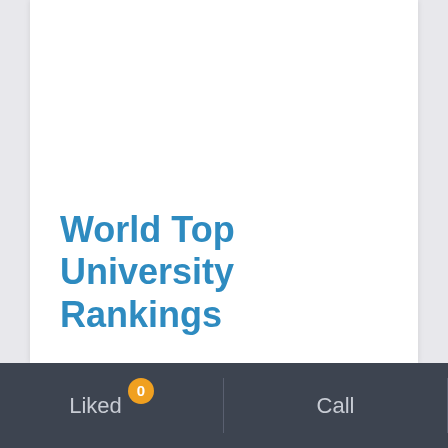World Top University Rankings
Liked 0   Call